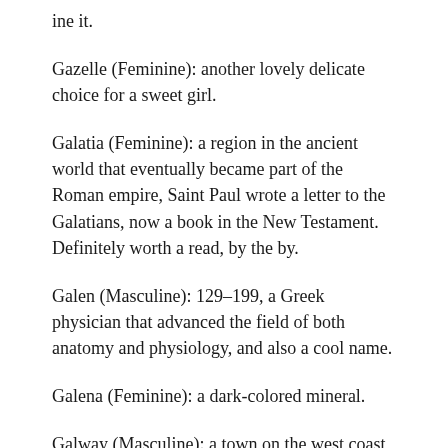ine it.
Gazelle (Feminine): another lovely delicate choice for a sweet girl.
Galatia (Feminine): a region in the ancient world that eventually became part of the Roman empire, Saint Paul wrote a letter to the Galatians, now a book in the New Testament. Definitely worth a read, by the by.
Galen (Masculine): 129–199, a Greek physician that advanced the field of both anatomy and physiology, and also a cool name.
Galena (Feminine): a dark-colored mineral.
Galway (Masculine): a town on the west coast of Ireland known for its bay and talented street